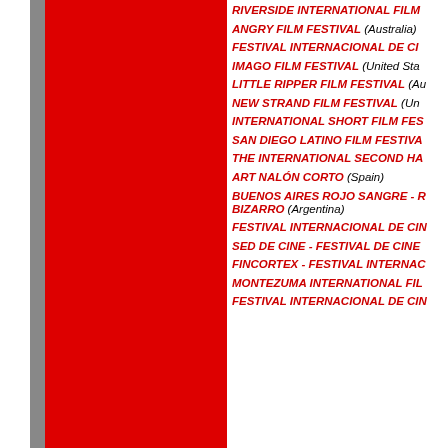[Figure (illustration): Large red block on left side of page with gray border strip]
RIVERSIDE INTERNATIONAL FILM...
ANGRY FILM FESTIVAL (Australia)
FESTIVAL INTERNACIONAL DE CI...
IMAGO FILM FESTIVAL (United Sta...
LITTLE RIPPER FILM FESTIVAL (Au...
NEW STRAND FILM FESTIVAL (Un...
INTERNATIONAL SHORT FILM FES...
SAN DIEGO LATINO FILM FESTIVA...
THE INTERNATIONAL SECOND HA...
ART NALÓN CORTO (Spain)
BUENOS AIRES ROJO SANGRE - F... BIZARRO (Argentina)
FESTIVAL INTERNACIONAL DE CIN...
SED DE CINE - FESTIVAL DE CINE...
FINCORTEX - FESTIVAL INTERNAC...
MONTEZUMA INTERNATIONAL FIL...
FESTIVAL INTERNACIONAL DE CIN...